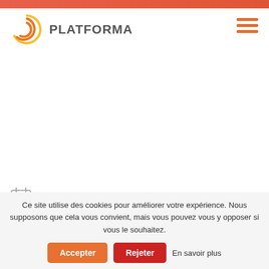[Figure (logo): Platforma logo with circular orange/yellow swirl graphic and bold gray text 'PLATFORMA']
[Figure (illustration): Hamburger menu icon with three orange horizontal lines]
Dates
[Figure (illustration): Calendar icon with 25/12 date]
Tous les partenaires
[Figure (illustration): Handshake icon]
Ce site utilise des cookies pour améliorer votre expérience. Nous supposons que cela vous convient, mais vous pouvez vous y opposer si vous le souhaitez.
Accepter
Rejeter
En savoir plus